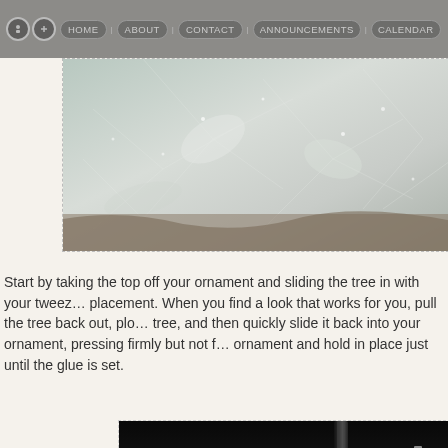HOME | ABOUT | CONTACT | ANNOUNCEMENTS | CALENDAR
[Figure (photo): Close-up photo of a silver/white crystalline or icy decorative Christmas tree branch with bokeh background]
Start by taking the top off your ornament and sliding the tree in with your tweezers to find the right placement. When you find a look that works for you, pull the tree back out, plot some glue on the tree, and then quickly slide it back into your ornament, pressing firmly but not forcefully onto the bottom of the ornament and hold in place just until the glue is set.
[Figure (photo): Close-up photo of a glass ornament with tweezers inserting a decorative element, with sparkling jeweled embellishments visible on a dark tool against a white background]